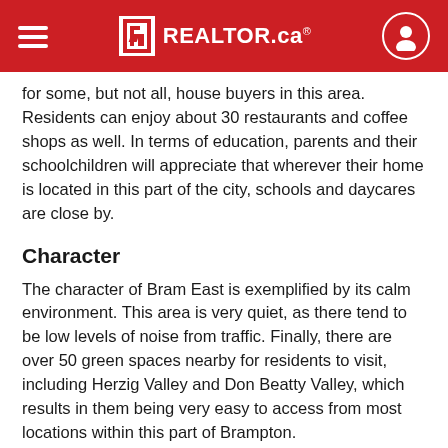REALTOR.ca
for some, but not all, house buyers in this area. Residents can enjoy about 30 restaurants and coffee shops as well. In terms of education, parents and their schoolchildren will appreciate that wherever their home is located in this part of the city, schools and daycares are close by.
Character
The character of Bram East is exemplified by its calm environment. This area is very quiet, as there tend to be low levels of noise from traffic. Finally, there are over 50 green spaces nearby for residents to visit, including Herzig Valley and Don Beatty Valley, which results in them being very easy to access from most locations within this part of Brampton.
Housing
Most housing in Bram East was built after the year 2000, during its biggest building boom. Single detached homes and row houses are the main housing type in this